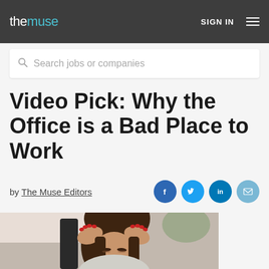the muse   SIGN IN
Search jobs or companies
Video Pick: Why the Office is a Bad Place to Work
by The Muse Editors
[Figure (photo): A stressed woman holding her head in her hands, sitting in an office chair, with dark hair and red nails.]